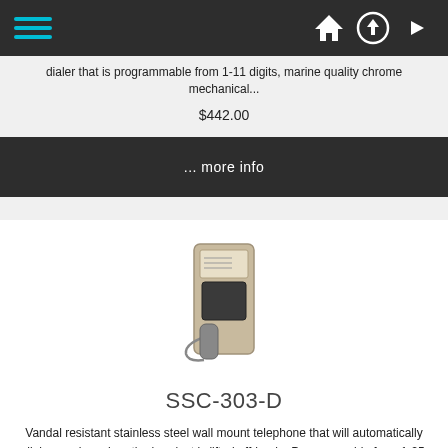Navigation bar with hamburger menu and icons
dialer that is programmable from 1-11 digits, marine quality chrome mechanical...
$442.00
... more info
[Figure (photo): SSC-303-D wall mount telephone, stainless steel vandal resistant unit with handset]
SSC-303-D
Vandal resistant stainless steel wall mount telephone that will automatically dial a number when the handset is lifted off-hook.  Programmable from 1-25 digits, PBX, prefix, or access dialing capability, and incoming call block.  Equipped...
$547.00